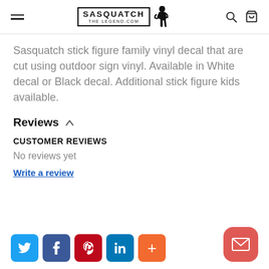SASQUATCH THE LEGEND.COM
Sasquatch stick figure family vinyl decal that are cut using outdoor sign vinyl. Available in White decal or Black decal. Additional stick figure kids available.
Reviews
CUSTOMER REVIEWS
No reviews yet
Write a review